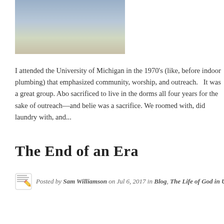[Figure (photo): Photo of a man in a blue shirt, cropped to show torso and hands, against a light background]
I attended the University of Michigan in the 1970's (like, before indoor plumbing) that emphasized community, worship, and outreach.   It was a great group. Abo sacrificed to live in the dorms all four years for the sake of outreach—and belie was a sacrifice. We roomed with, did laundry with, and...
The End of an Era
Posted by Sam Williamson on Jul 6, 2017 in Blog, The Life of God in Us | 0 comm